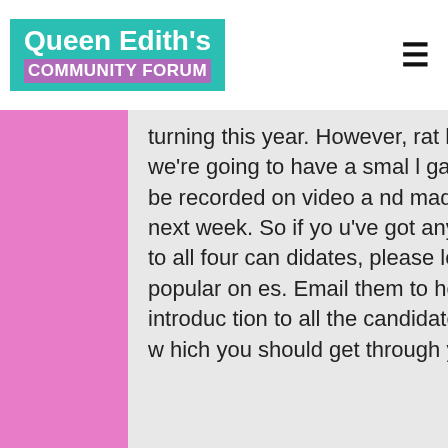Queen Edith's COMMUNITY FORUM
turning this year. However, rather than a public meeting, this year we're going to have a small gathering of the candidates, which will be recorded on video and made available for you to watch this time next week. So if you've got any questions which you'd like us to put to all four candidates, please let us know, and we'll use the most popular ones. Email them to hello@queen-ediths.info. There's an introduction to all the candidates in the new Queen Edith's magazine, which you should get through your door in the next seven days.